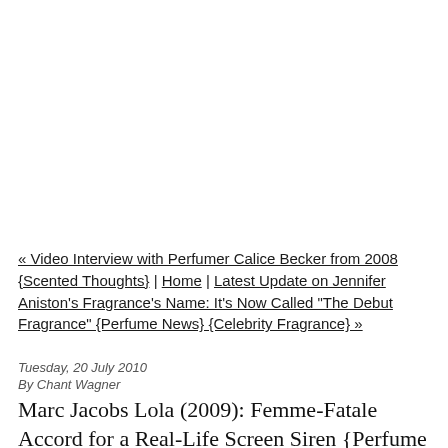« Video Interview with Perfumer Calice Becker from 2008 {Scented Thoughts} | Home | Latest Update on Jennifer Aniston's Fragrance's Name: It's Now Called "The Debut Fragrance" {Perfume News} {Celebrity Fragrance} »
Tuesday, 20 July 2010
By Chant Wagner
Marc Jacobs Lola (2009): Femme-Fatale Accord for a Real-Life Screen Siren {Perfume Review & Musings}